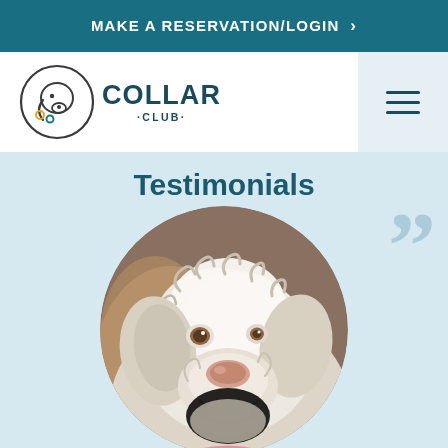MAKE A RESERVATION/LOGIN >
[Figure (logo): Collar Club logo with circular dog silhouette icon and text COLLAR CLUB]
[Figure (other): Hamburger menu icon (three horizontal lines) on light blue background]
Testimonials
[Figure (photo): Close-up circular cropped photo of a white fluffy dog (labradoodle or goldendoodle) looking at camera with large quotation marks in light blue to the upper right]
[Figure (illustration): Large decorative closing quotation marks in light blue/steel color, positioned upper right of dog photo]